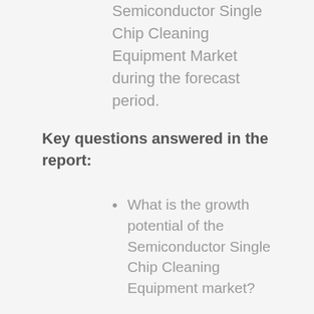Semiconductor Single Chip Cleaning Equipment Market during the forecast period.
Key questions answered in the report:
What is the growth potential of the Semiconductor Single Chip Cleaning Equipment market?